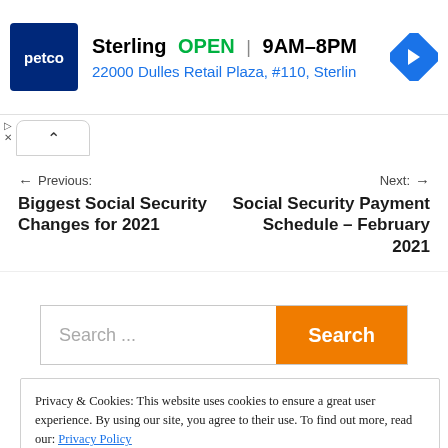[Figure (logo): Petco store advertisement banner showing Petco logo, Sterling OPEN 9AM-8PM, and address 22000 Dulles Retail Plaza, #110, Sterlin]
← Previous:
Biggest Social Security Changes for 2021
Next: →
Social Security Payment Schedule – February 2021
Search ...
Privacy & Cookies: This website uses cookies to ensure a great user experience. By using our site, you agree to their use. To find out more, read our: Privacy Policy
Close and accept